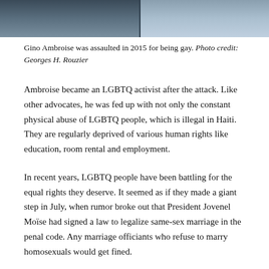[Figure (photo): Top portion of a photo showing a person in blue clothing, cropped at the torso level.]
Gino Ambroise was assaulted in 2015 for being gay. Photo credit: Georges H. Rouzier
Ambroise became an LGBTQ activist after the attack. Like other advocates, he was fed up with not only the constant physical abuse of LGBTQ people, which is illegal in Haiti. They are regularly deprived of various human rights like education, room rental and employment.
In recent years, LGBTQ people have been battling for the equal rights they deserve. It seemed as if they made a giant step in July, when rumor broke out that President Jovenel Moïse had signed a law to legalize same-sex marriage in the penal code. Any marriage officiants who refuse to marry homosexuals would get fined.